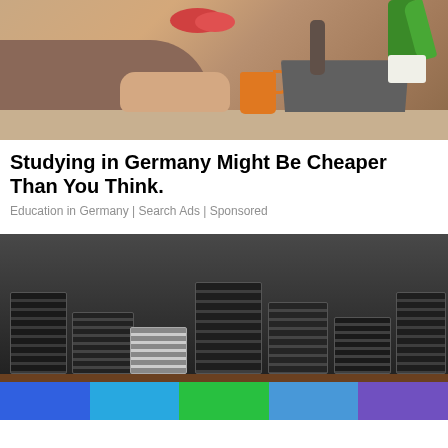[Figure (photo): Person sitting at desk with orange coffee mug and laptop, fruit bowl and plant visible in background]
Studying in Germany Might Be Cheaper Than You Think.
Education in Germany | Search Ads | Sponsored
[Figure (photo): Stacks of laptops and electronic devices piled on a table]
[Figure (other): Color bar with blue, sky blue, green, light blue, and purple segments]